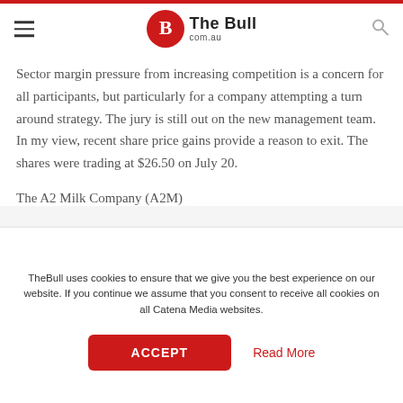The Bull com.au
Sector margin pressure from increasing competition is a concern for all participants, but particularly for a company attempting a turn around strategy. The jury is still out on the new management team. In my view, recent share price gains provide a reason to exit. The shares were trading at $26.50 on July 20.
The A2 Milk Company (A2M)
TheBull uses cookies to ensure that we give you the best experience on our website. If you continue we assume that you consent to receive all cookies on all Catena Media websites.